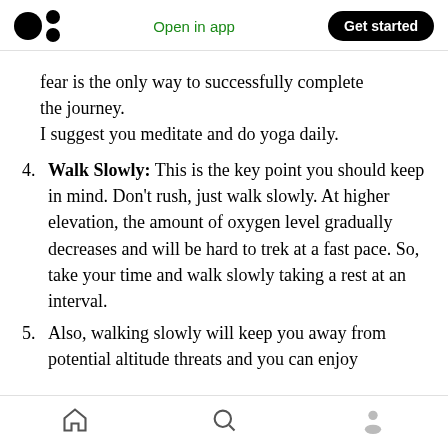Medium app header — logo, Open in app, Get started
fear is the only way to successfully complete the journey.
I suggest you meditate and do yoga daily.
4. Walk Slowly: This is the key point you should keep in mind. Don't rush, just walk slowly. At higher elevation, the amount of oxygen level gradually decreases and will be hard to trek at a fast pace. So, take your time and walk slowly taking a rest at an interval.
5. Also, walking slowly will keep you away from potential altitude threats and you can enjoy
Bottom navigation bar with home, search, and profile icons